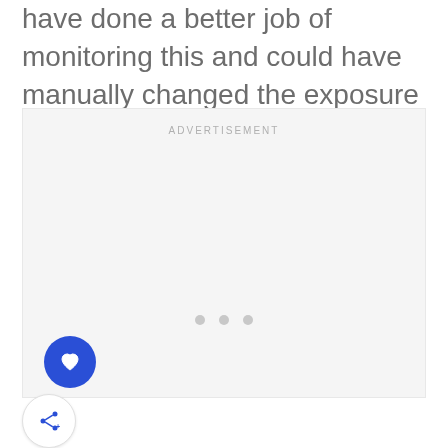have done a better job of monitoring this and could have manually changed the exposure or exposure compensation.
[Figure (other): Advertisement placeholder box with loading dots]
[Figure (other): Like/heart button (blue circle with heart icon) and share button (white circle with share icon)]